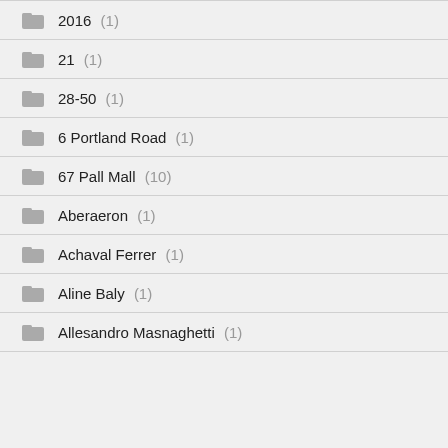2016 (1)
21 (1)
28-50 (1)
6 Portland Road (1)
67 Pall Mall (10)
Aberaeron (1)
Achaval Ferrer (1)
Aline Baly (1)
Allesandro Masnaghetti (1)